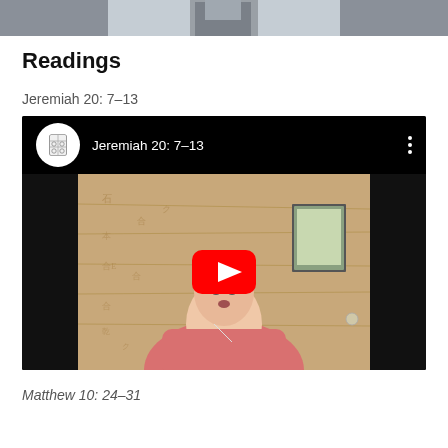[Figure (photo): Partial top of page showing a grey sky and architectural structure (cropped image at top)]
Readings
Jeremiah 20: 7–13
[Figure (screenshot): YouTube video embed showing a woman in a pink cardigan reading, with the title 'Jeremiah 20: 7–13' in the header and a red play button in the center]
Matthew 10: 24–31